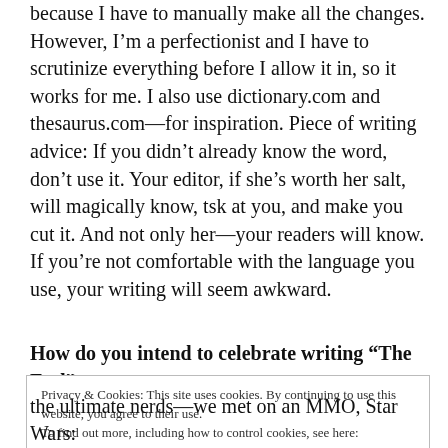because I have to manually make all the changes. However, I'm a perfectionist and I have to scrutinize everything before I allow it in, so it works for me. I also use dictionary.com and thesaurus.com—for inspiration. Piece of writing advice: If you didn't already know the word, don't use it. Your editor, if she's worth her salt, will magically know, tsk at you, and make you cut it. And not only her—your readers will know. If you're not comfortable with the language you use, your writing will seem awkward.
How do you intend to celebrate writing “The End” on
Privacy & Cookies: This site uses cookies. By continuing to use this website, you agree to their use.
To find out more, including how to control cookies, see here:
Cookie Policy
Close and accept
the ultimate nerds—we met on an MMO, Star Wars: